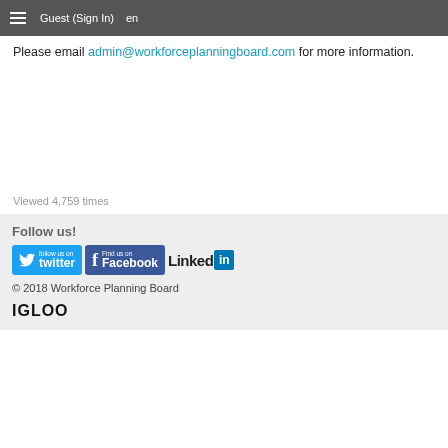Guest (Sign In)  en
Please email admin@workforceplanningboard.com for more information.
Viewed 4,759 times
Follow us!
[Figure (logo): Twitter, Facebook, and LinkedIn social media badges/icons]
© 2018 Workforce Planning Board
[Figure (logo): IGLOO logo in bold black text]